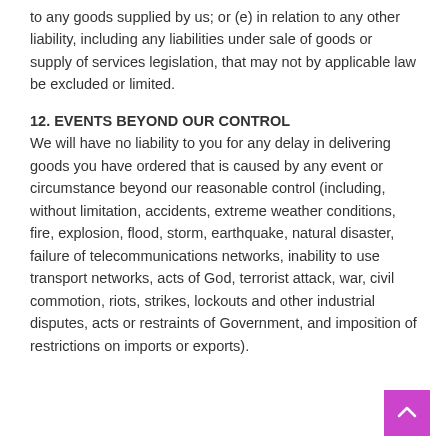to any goods supplied by us; or (e) in relation to any other liability, including any liabilities under sale of goods or supply of services legislation, that may not by applicable law be excluded or limited.
12. EVENTS BEYOND OUR CONTROL
We will have no liability to you for any delay in delivering goods you have ordered that is caused by any event or circumstance beyond our reasonable control (including, without limitation, accidents, extreme weather conditions, fire, explosion, flood, storm, earthquake, natural disaster, failure of telecommunications networks, inability to use transport networks, acts of God, terrorist attack, war, civil commotion, riots, strikes, lockouts and other industrial disputes, acts or restraints of Government, and imposition of restrictions on imports or exports).